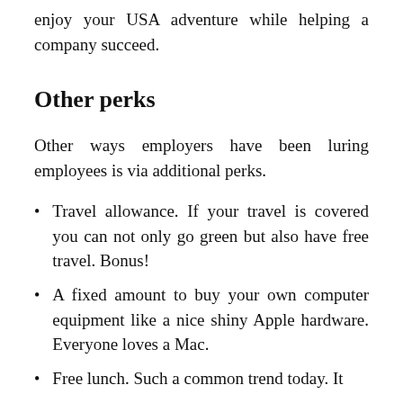enjoy your USA adventure while helping a company succeed.
Other perks
Other ways employers have been luring employees is via additional perks.
Travel allowance. If your travel is covered you can not only go green but also have free travel. Bonus!
A fixed amount to buy your own computer equipment like a nice shiny Apple hardware. Everyone loves a Mac.
Free lunch. Such a common trend today. It